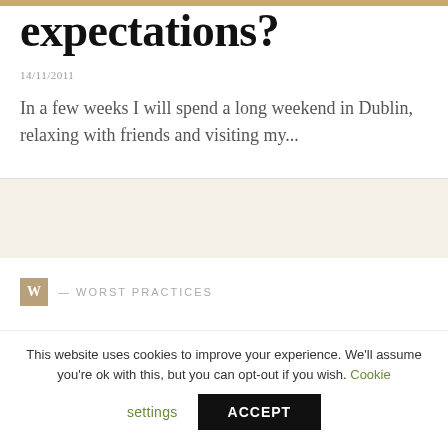expectations?
14/11/2011
In a few weeks I will spend a long weekend in Dublin, relaxing with friends and visiting my...
W — WORST PRACTICES
The Simple Sabotage Field Manual
This website uses cookies to improve your experience. We'll assume you're ok with this, but you can opt-out if you wish. Cookie settings ACCEPT